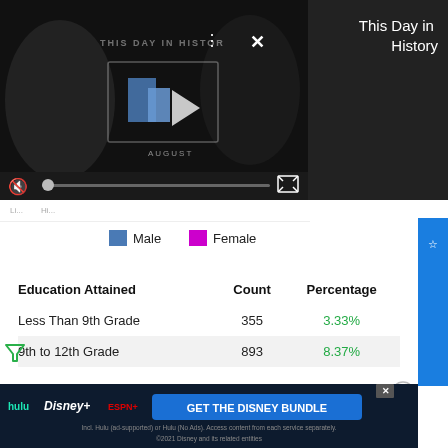[Figure (screenshot): Video player showing 'This Day in History' with play controls, mute icon, progress bar, and fullscreen button on dark background]
This Day in History
[Figure (infographic): Legend showing Male (blue square) and Female (magenta square) color indicators]
| Education Attained | Count | Percentage |
| --- | --- | --- |
| Less Than 9th Grade | 355 | 3.33% |
| 9th to 12th Grade | 893 | 8.37% |
[Figure (screenshot): Advertisement banner for Hulu, Disney+, ESPN+ bundle with 'GET THE DISNEY BUNDLE' call to action]